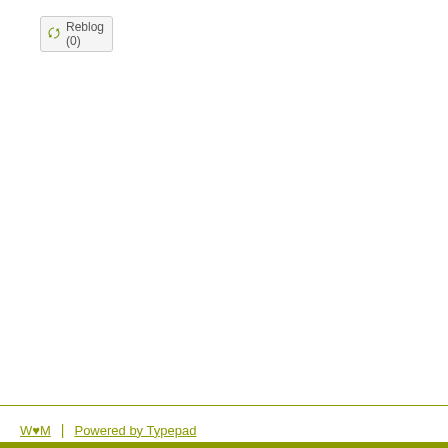[Figure (other): Reblog button with recycle/refresh icon showing text 'Reblog (0)']
W♥M  |  Powered by Typepad